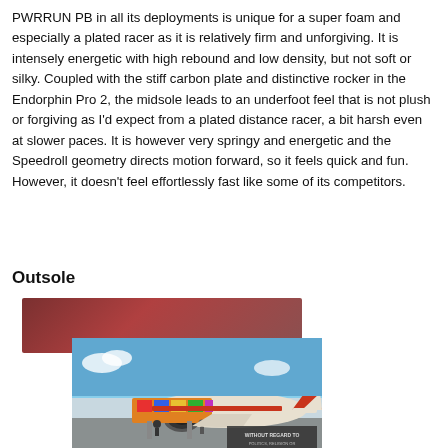PWRRUN PB in all its deployments is unique for a super foam and especially a plated racer as it is relatively firm and unforgiving. It is intensely energetic with high rebound and low density, but not soft or silky. Coupled with the stiff carbon plate and distinctive rocker in the Endorphin Pro 2, the midsole leads to an underfoot feel that is not plush or forgiving as I'd expect from a plated distance racer, a bit harsh even at slower paces. It is however very springy and energetic and the Speedroll geometry directs motion forward, so it feels quick and fun. However, it doesn't feel effortlessly fast like some of its competitors.
Outsole
[Figure (photo): Advertisement banner showing an airplane being loaded with cargo on an airfield, with a dark overlay text reading 'WITHOUT REGARD TO POLITICS, RELIGION OR HEALTH TO PAX']